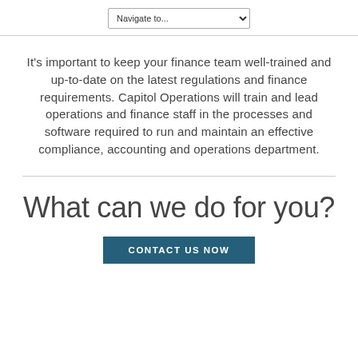Navigate to...
It's important to keep your finance team well-trained and up-to-date on the latest regulations and finance requirements. Capitol Operations will train and lead operations and finance staff in the processes and software required to run and maintain an effective compliance, accounting and operations department.
What can we do for you?
CONTACT US NOW